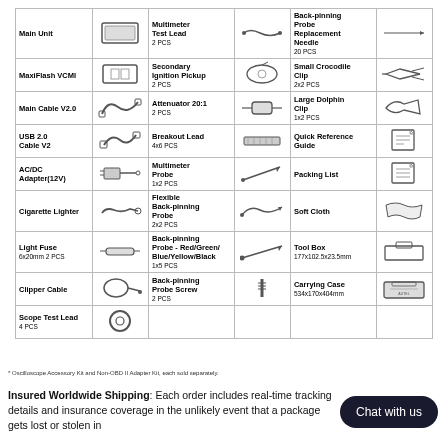| Item | Image | Item | Image | Item | Image |
| --- | --- | --- | --- | --- | --- |
| Main Unit |  | Multimeter Test Lead 2 PCS |  | Back-pinning Probe Replacement Needle 20 PCS |  |
| MaxiFlash VCMI |  | Secondary Ignition Pickup 2 PCS |  | Small Crocodile Clip 2x2 PCS |  |
| Main Cable V2.0 |  | Attenuator 20:1 2 PCS |  | Large Dolphin Clip 1x2 PCS |  |
| USB 2.0 Cable V2 |  | Breakout Lead 4x6 PCS |  | Quick Reference Guide |  |
| AC/DC Adapter(12V) |  | Multimeter Probe 1x2 PCS |  | Packing List |  |
| Cigarette Lighter |  | Flexible Back-pinning Probe 2x2 PCS |  | Soft Cloth |  |
| Light Fuse 6x20mm 2 PCS |  | Back-pinning Probe - Red/Green/Blue/Yellow/Black 1x5 PCS |  | Tool Box 177x102.5x23.5mm |  |
| Clipper Cable |  | Back-pinning Probe Screw 2 PCS |  | Carrying Case 534x170x404mm |  |
| Scope Test Lead 4 PCS |  |  |  |  |  |
* Oscilloscope Accessory Kit and Non-OBD II Adapter Kit, each sold separately.
Insured Worldwide Shipping: Each order includes real-time tracking details and insurance coverage in the unlikely event that a package gets lost or stolen in